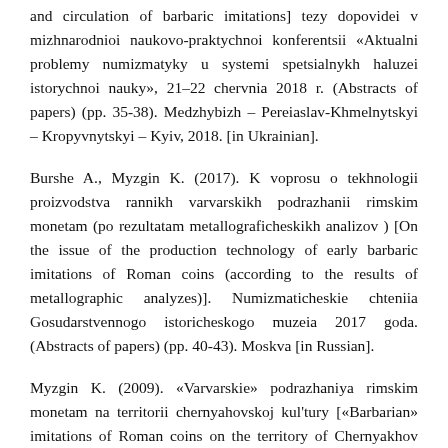and circulation of barbaric imitations] tezy dopovidei v mizhnarodnioi naukovo-praktychnoi konferentsii «Aktualni problemy numizmatyky u systemi spetsialnykh haluzei istorychnoi nauky», 21–22 chervnia 2018 r. (Abstracts of papers) (pp. 35-38). Medzhybizh – Pereiaslav-Khmelnytskyi – Kropyvnytskyi – Kyiv, 2018. [in Ukrainian].
Burshe A., Myzgin K. (2017). K voprosu o tekhnologii proizvodstva rannikh varvarskikh podrazhanii rimskim monetam (po rezultatam metallograficheskikh analizov ) [On the issue of the production technology of early barbaric imitations of Roman coins (according to the results of metallographic analyzes)]. Numizmaticheskie chteniia Gosudarstvennogo istoricheskogo muzeia 2017 goda. (Abstracts of papers) (pp. 40-43). Moskva [in Russian].
Myzgin K. (2009). «Varvarskie» podrazhaniya rimskim monetam na territorii chernyahovskoj kul'tury [«Barbarian» imitations of Roman coins on the territory of Chernyakhov culture] // Drevnosti